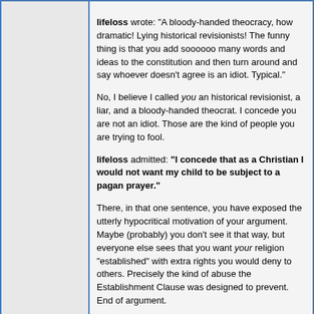lifeloss wrote: "A bloody-handed theocracy, how dramatic! Lying historical revisionists! The funny thing is that you add soooooo many words and ideas to the constitution and then turn around and say whoever doesn't agree is an idiot. Typical."

No, I believe I called you an historical revisionist, a liar, and a bloody-handed theocrat. I concede you are not an idiot. Those are the kind of people you are trying to fool.

lifeloss admitted: "I concede that as a Christian I would not want my child to be subject to a pagan prayer."

There, in that one sentence, you have exposed the utterly hypocritical motivation of your argument. Maybe (probably) you don't see it that way, but everyone else sees that you want your religion "established" with extra rights you would deny to others. Precisely the kind of abuse the Establishment Clause was designed to prevent. End of argument.
"Biology is just physics that has begun to smell bad." — HalfMooner

Here's a link to Moonscape News, and one to its Archive.
Edited by - HalfMooner on 06/30/2006 18:34:48
Valiant Dancer
Forum Goalie
Posted - 06/30/2006 : 20:43:26 [Permalink]